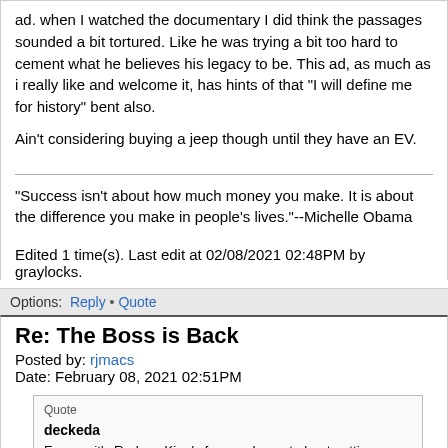ad. when I watched the documentary I did think the passages sounded a bit tortured. Like he was trying a bit too hard to cement what he believes his legacy to be. This ad, as much as i really like and welcome it, has hints of that "I will define me for history" bent also.
Ain't considering buying a jeep though until they have an EV.
"Success isn't about how much money you make. It is about the difference you make in people's lives."--Michelle Obama
Edited 1 time(s). Last edit at 02/08/2021 02:48PM by graylocks.
Options: Reply • Quote
Re: The Boss is Back
Posted by: rjmacs
Date: February 08, 2021 02:51PM
Quote
deckeda
For me, it's Rodney King's famous lament about getting along. That's not acquiescence but it's not forgiveness, either.
People often forget that Rodney King's plea wasn't a lament, but an urgent entreaty to the people of Los Angeles, in the midst of intense violence and ongoing physical destruction of his community, not to